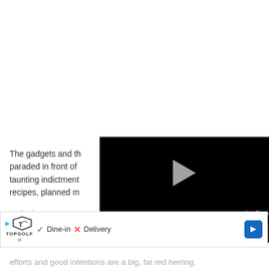The gadgets and the [video overlay] paraded in front of [video overlay] taunting indictment [video overlay] recipes, planned m[video overlay]
[Figure (screenshot): Embedded video player with black background, play button, progress bar, controls showing mute icon, timestamp 00:41, grid icon, settings icon, fullscreen icon]
[Figure (screenshot): Ad banner showing Topgolf logo with play and close icons, checkmark Dine-in, X Delivery, blue navigation arrow icon]
tucked [faded] ...e it all turn o[faded] ...t efforts and good intentions are a big, fat red herring.